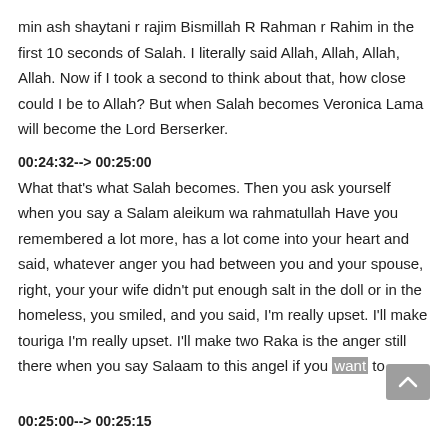min ash shaytani r rajim Bismillah R Rahman r Rahim in the first 10 seconds of Salah. I literally said Allah, Allah, Allah, Allah. Now if I took a second to think about that, how close could I be to Allah? But when Salah becomes Veronica Lama will become the Lord Berserker.
00:24:32--> 00:25:00
What that's what Salah becomes. Then you ask yourself when you say a Salam aleikum wa rahmatullah Have you remembered a lot more, has a lot come into your heart and said, whatever anger you had between you and your spouse, right, your your wife didn't put enough salt in the doll or in the homeless, you smiled, and you said, I'm really upset. I'll make touriga I'm really upset. I'll make two Raka is the anger still there when you say Salaam to this angel if you want to
00:25:00--> 00:25:15